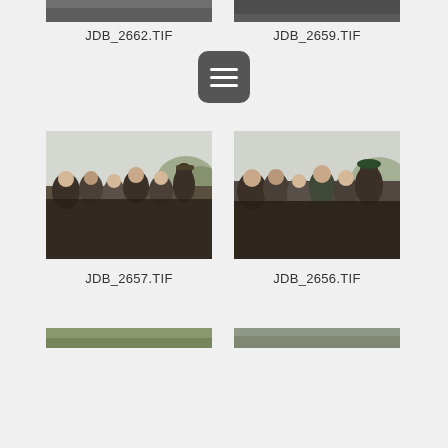[Figure (photo): Partially visible photo at top left, cropped - JDB_2662.TIF]
[Figure (photo): Partially visible photo at top right, cropped - JDB_2659.TIF]
JDB_2662.TIF
JDB_2659.TIF
[Figure (screenshot): Menu/hamburger icon button with three horizontal lines on dark rounded square background]
[Figure (photo): Group of people at outdoor ceremony, crowd in foreground, trees in background - JDB_2657.TIF]
[Figure (photo): Group of people at outdoor ceremony, crowd with military personnel - JDB_2656.TIF]
JDB_2657.TIF
JDB_2656.TIF
[Figure (photo): Partially visible photo at bottom left, cropped]
[Figure (photo): Partially visible photo at bottom right, cropped]